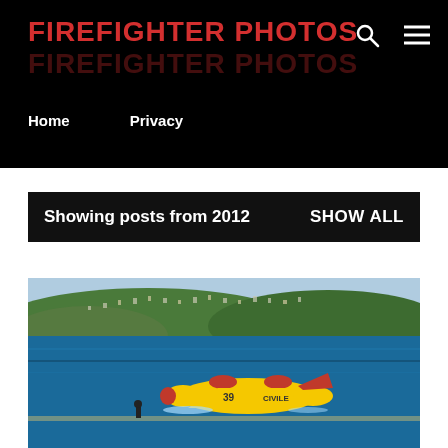FIREFIGHTER PHOTOS
Home   Privacy
Showing posts from 2012   SHOW ALL
[Figure (photo): A yellow and red firefighting water-bomber aircraft (Canadair CL-415, number 39, marked CIVILE) skimming the surface of deep blue water to scoop water, with a hilly coastal town visible in the background. A person stands on the shore watching.]